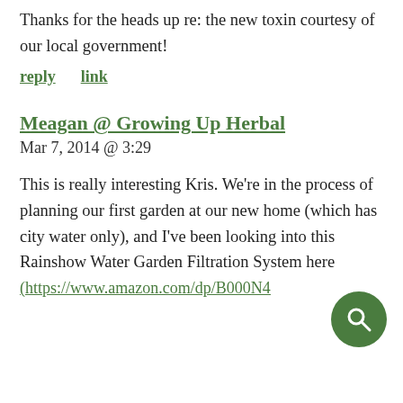Thanks for the heads up re: the new toxin courtesy of our local government!
reply   link
Meagan @ Growing Up Herbal
Mar 7, 2014 @ 3:29
This is really interesting Kris. We're in the process of planning our first garden at our new home (which has city water only), and I've been looking into this Rainshow Water Garden Filtration System here (https://www.amazon.com/dp/B000N4